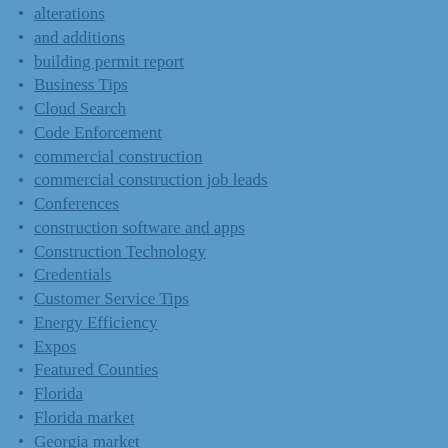alterations
and additions
building permit report
Business Tips
Cloud Search
Code Enforcement
commercial construction
commercial construction job leads
Conferences
construction software and apps
Construction Technology
Credentials
Customer Service Tips
Energy Efficiency
Expos
Featured Counties
Florida
Florida market
Georgia market
Green Building
healthy buildings